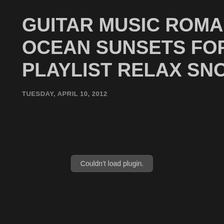GUITAR MUSIC ROMANTIC RELA OCEAN SUNSETS FOR LEARNIN PLAYLIST RELAX SNOOZE REST
TUESDAY, APRIL 10, 2012
[Figure (other): Plugin error placeholder box with text: Couldn't load plugin.]